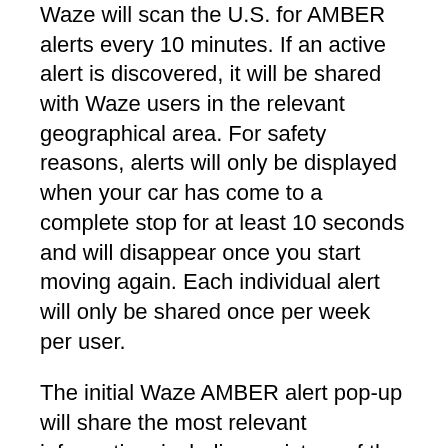Waze will scan the U.S. for AMBER alerts every 10 minutes. If an active alert is discovered, it will be shared with Waze users in the relevant geographical area. For safety reasons, alerts will only be displayed when your car has come to a complete stop for at least 10 seconds and will disappear once you start moving again. Each individual alert will only be shared once per week per user.
The initial Waze AMBER alert pop-up will share the most relevant information, including a picture of the child, name, age, where he or she was last seen and details about the vehicle the child may be traveling including its make, model and license plate number. You can click the “More Information” button in the app to learn more, including who to contact if you spot the child. Check out the official Waze blog for more information about its AMBER alert integration.
Earlier this year, social network Facebook partnered with the National Center for Missing and Exploited Children to